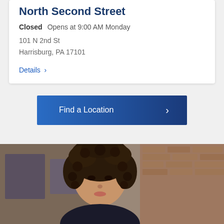North Second Street
Closed   Opens at 9:00 AM Monday
101 N 2nd St
Harrisburg, PA 17101
Details ›
Find a Location ›
[Figure (photo): Woman with curly hair looking down, in an office/workspace setting with brick wall in background]